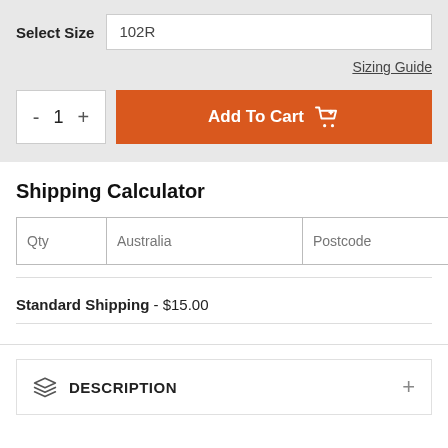Select Size   102R
Sizing Guide
- 1 +  Add To Cart
Shipping Calculator
Qty  Australia  Postcode  Cal
Standard Shipping - $15.00
DESCRIPTION +